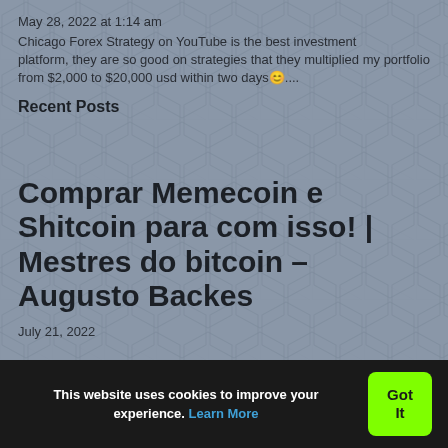May 28, 2022 at 1:14 am
Chicago Forex Strategy on YouTube is the best investment platform, they are so good on strategies that they multiplied my portfolio from $2,000 to $20,000 usd within two days☺....
Recent Posts
Comprar Memecoin e Shitcoin para com isso! | Mestres do bitcoin – Augusto Backes
July 21, 2022
This website uses cookies to improve your experience. Learn More
Got It